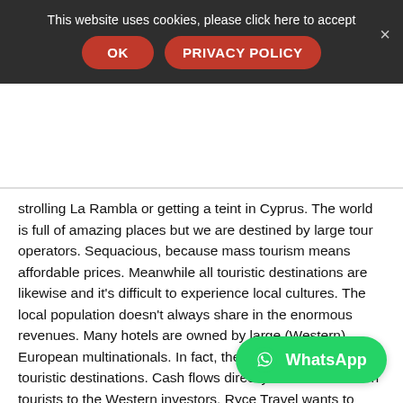This website uses cookies, please click here to accept
OK   PRIVACY POLICY  ×
strolling La Rambla or getting a teint in Cyprus. The world is full of amazing places but we are destined by large tour operators. Sequacious, because mass tourism means affordable prices. Meanwhile all touristic destinations are likewise and it's difficult to experience local cultures. The local population doesn't always share in the enormous revenues. Many hotels are owned by large (Western) European multinationals. In fact, they are in charge of the touristic destinations. Cash flows directly from the Western tourists to the Western investors. Ryce Travel wants to break this spell. If you travel with Ryce Travel you're not going on vacation but you're definitely travelling. You'll experie[nce ...] you'll see amazing and undiscovered places and your expenses will stimulate local economies. I have tried to
WhatsApp